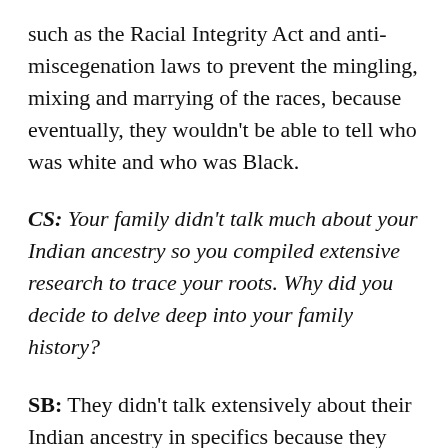such as the Racial Integrity Act and anti-miscegenation laws to prevent the mingling, mixing and marrying of the races, because eventually, they wouldn't be able to tell who was white and who was Black.
CS: Your family didn't talk much about your Indian ancestry so you compiled extensive research to trace your roots. Why did you decide to delve deep into your family history?
SB: They didn't talk extensively about their Indian ancestry in specifics because they didn't know their tribes but we spoke with a wistfulness. A longing. We were the dispossessed. We weren't in possession of our full identity. We had lost that information on the migration trail from North Carolina and Virginia into Kentucky, Tennessee, Indiana and finally Michigan. Except there was a branch of my family, the Roberts